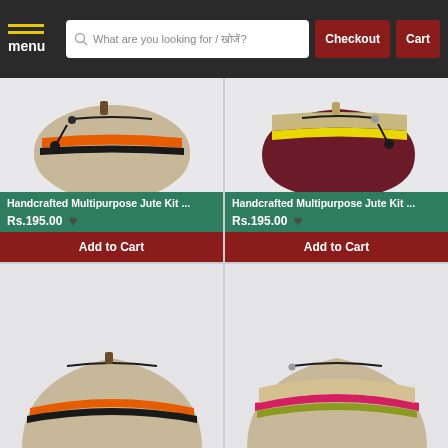menu | What are you looking for / खोजें? | Checkout | Cart
[Figure (photo): Handcrafted multipurpose jute kit bag in beige/tan with orange and black stripes and zipper closure]
Handcrafted Multipurpose Jute Kit ...
Rs.195.00
Add to Cart
[Figure (photo): Handcrafted multipurpose jute kit bag in dark red/maroon with yellow stripe and zipper closure]
Handcrafted Multipurpose Jute Kit ...
Rs.195.00
Add to Cart
[Figure (photo): Handcrafted multipurpose jute kit bag in beige with orange stripe, partially visible at bottom of page]
[Figure (photo): Handcrafted multipurpose jute kit bag in olive/green with pink/red stripe, partially visible at bottom of page]